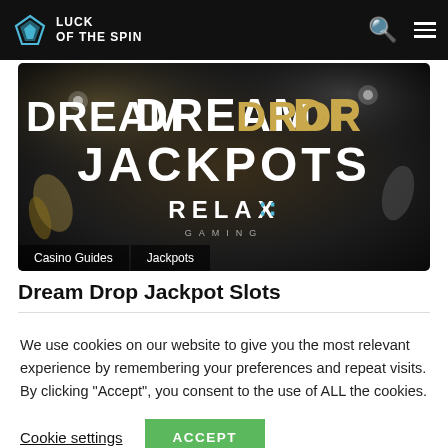Luck of the Spin
[Figure (screenshot): Dream Drop Jackpots promotional banner by Relax Gaming, dark background with golden and white text]
Casino Guides   Jackpots
Dream Drop Jackpot Slots
We use cookies on our website to give you the most relevant experience by remembering your preferences and repeat visits. By clicking “Accept”, you consent to the use of ALL the cookies.
Cookie settings   ACCEPT